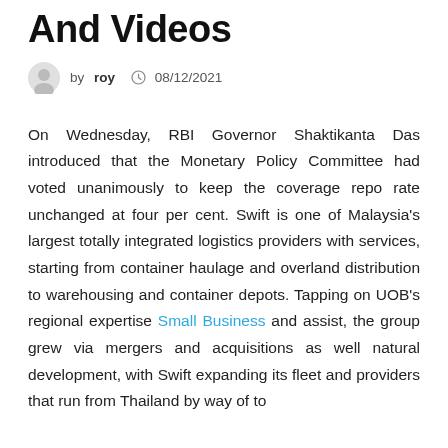And Videos
by roy  08/12/2021
On Wednesday, RBI Governor Shaktikanta Das introduced that the Monetary Policy Committee had voted unanimously to keep the coverage repo rate unchanged at four per cent. Swift is one of Malaysia's largest totally integrated logistics providers with services, starting from container haulage and overland distribution to warehousing and container depots. Tapping on UOB's regional expertise Small Business and assist, the group grew via mergers and acquisitions as well natural development, with Swift expanding its fleet and providers that run from Thailand by way of to